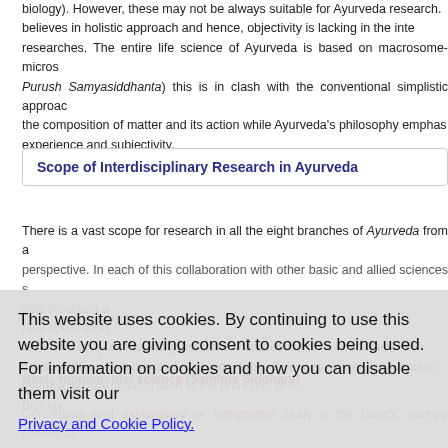biology). However, these may not be always suitable for Ayurveda research. believes in holistic approach and hence, objectivity is lacking in the inter researches. The entire life science of Ayurveda is based on macrosome-micros Purush Samyasiddhanta) this is in clash with the conventional simplistic approac the composition of matter and its action while Ayurveda's philosophy emphas experience and subjectivity.
Scope of Interdisciplinary Research in Ayurveda
There is a vast scope for research in all the eight branches of Ayurveda from a perspective. In each of this collaboration with other basic and allied sciences s able important and new spect shoul specifically. Thes from conte collaboration with experts of Ayurveda, basic sciences as well nches of A interdisciplinary collaboration in the bra Biology.
Basic fundamental science (Samhita Siddhant)
Conceptual and explanatory or interpretive study n the basics, namely Dosha, D Ama, Ojas and Srotas; Marma, Prakriti as well in Rasa-Guna-Veerya-Vipak-Pr
This will help to create an appropriate interface for the development of specifi